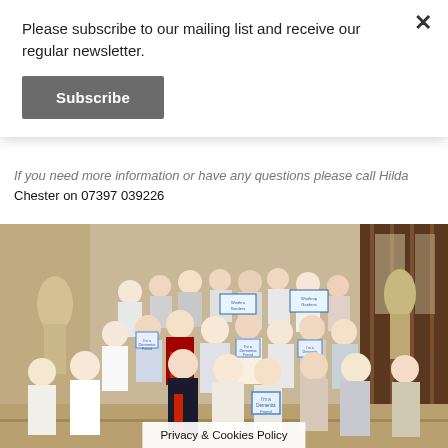Please subscribe to our mailing list and receive our regular newsletter.
Subscribe
If you need more information or have any questions please call Hilda Chester on 07397 039226
[Figure (photo): A large group of people standing on stairs inside what appears to be a grand building (Parliament), many holding signs reading 'I'm a Dementia Friend' and 'Winthrop Gardens'. A man in a dark suit with a red tie stands prominently in the centre. Statues are visible in the background along with gothic-style windows.]
Privacy & Cookies Policy